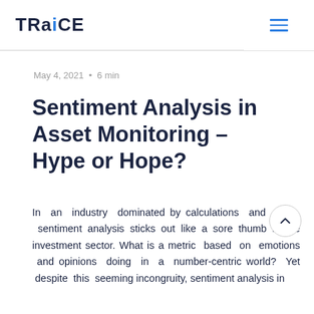TRaiCE
May 4, 2021  •  6 min
Sentiment Analysis in Asset Monitoring – Hype or Hope?
In an industry dominated by calculations and KPIs, sentiment analysis sticks out like a sore thumb in the investment sector. What is a metric based on emotions and opinions doing in a number-centric world? Yet despite this seeming incongruity, sentiment analysis in